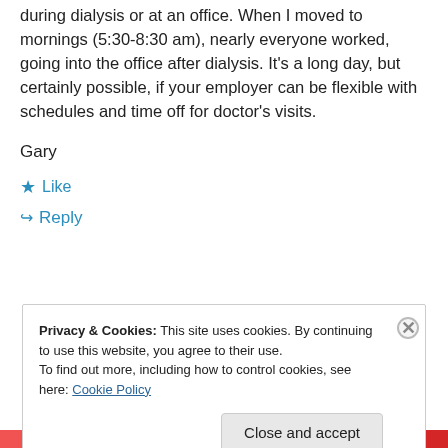during dialysis or at an office. When I moved to mornings (5:30-8:30 am), nearly everyone worked, going into the office after dialysis. It's a long day, but certainly possible, if your employer can be flexible with schedules and time off for doctor's visits.
Gary
Like
Reply
Privacy & Cookies: This site uses cookies. By continuing to use this website, you agree to their use. To find out more, including how to control cookies, see here: Cookie Policy